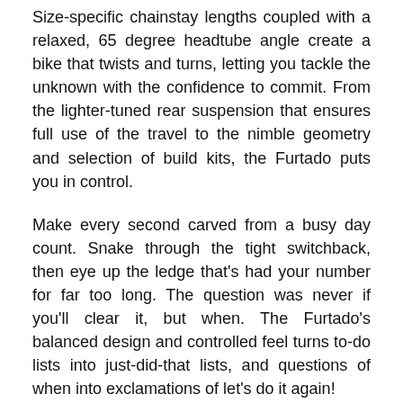Size-specific chainstay lengths coupled with a relaxed, 65 degree headtube angle create a bike that twists and turns, letting you tackle the unknown with the confidence to commit. From the lighter-tuned rear suspension that ensures full use of the travel to the nimble geometry and selection of build kits, the Furtado puts you in control.
Make every second carved from a busy day count. Snake through the tight switchback, then eye up the ledge that's had your number for far too long. The question was never if you'll clear it, but when. The Furtado's balanced design and controlled feel turns to-do lists into just-did-that lists, and questions of when into exclamations of let's do it again!
Geometry
Sizing